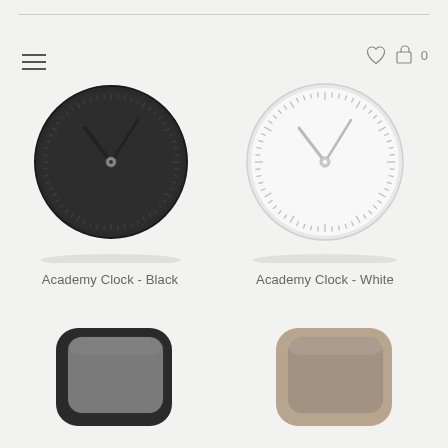[Figure (screenshot): E-commerce product listing page showing wall clocks and speakers on light gray background]
[Figure (illustration): Black round minimalist wall clock - Academy Clock Black]
Academy Clock - Black
[Figure (illustration): White round minimalist wall clock - Academy Clock White]
Academy Clock - White
[Figure (illustration): Black fabric speaker with rounded square shape]
[Figure (illustration): Tan/beige fabric speaker with rounded square shape]